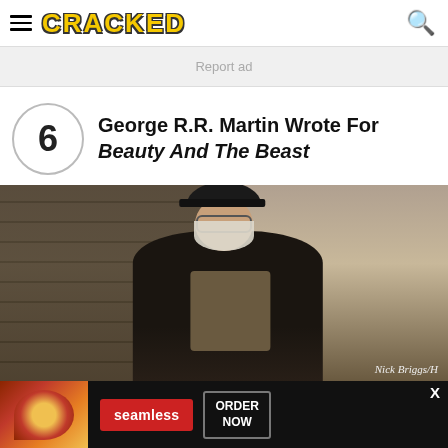CRACKED
Report ad
George R.R. Martin Wrote For Beauty And The Beast
[Figure (photo): George R.R. Martin standing in front of stone wall wearing black cap and jacket with white beard]
Nick Briggs/H
[Figure (infographic): Seamless food delivery advertisement with pizza image, seamless badge, and ORDER NOW button]